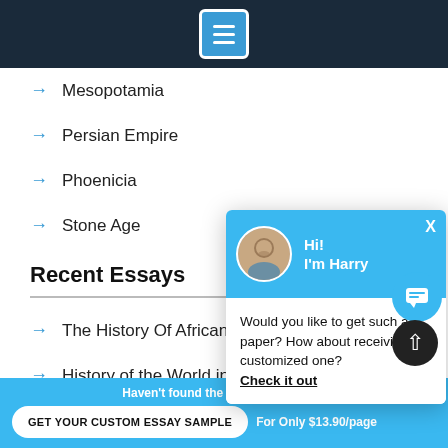[Figure (screenshot): Dark navy top navigation bar with a hamburger menu icon in a blue square]
→ Mesopotamia
→ Persian Empire
→ Phoenicia
→ Stone Age
Recent Essays
→ The History Of African R...
→ History of the World in c...
→ Daoism And Mayan Reli... Religion Essay
→ The History of the British Empire E...
[Figure (screenshot): Chat popup with avatar photo of Harry, greeting 'Hi! I'm Harry', and message asking if user wants a customized paper with 'Check it out' link and X close button]
Would you like to get such a paper? How about receiving a customized one? Check it out
Haven't found the Essay You Want? GET YOUR CUSTOM ESSAY SAMPLE For Only $13.90/page X